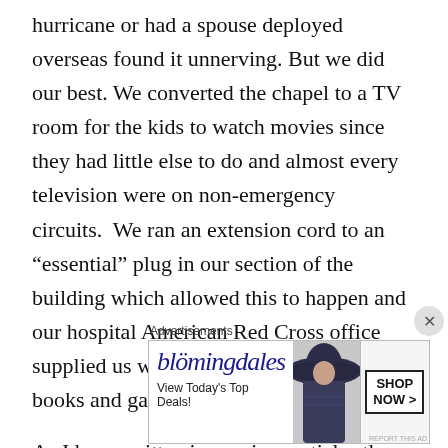hurricane or had a spouse deployed overseas found it unnerving. But we did our best. We converted the chapel to a TV room for the kids to watch movies since they had little else to do and almost every television were on non-emergency circuits.  We ran an extension cord to an “essential” plug in our section of the building which allowed this to happen and our hospital American Red Cross office supplied us with DVDs as well as coloring books and games for the kids.
As I have written in previous articles the military, particularly the Navy tends to be more of a family than any civilian employer. We are bound together by our shared
Advertisements
[Figure (infographic): Bloomingdale's advertisement banner: logo text 'bloomingdales', tagline 'View Today’s Top Deals!', image of woman in wide-brim hat, and 'SHOP NOW >' button]